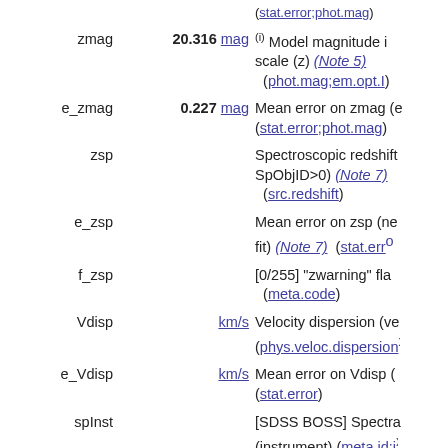| Name | Value/Unit | Description |
| --- | --- | --- |
| zmag | 20.316 mag | (i) Model magnitude in scale (z) (Note 5) (phot.mag;em.opt.I) |
| e_zmag | 0.227 mag | Mean error on zmag (e) (stat.error;phot.mag) |
| zsp |  | Spectroscopic redshift SpObjID>0) (Note 7) (src.redshift) |
| e_zsp |  | Mean error on zsp (ne; fit) (Note 7) (stat.err...) |
| f_zsp |  | [0/255] "zwarning" fla (meta.code) |
| Vdisp | km/s | Velocity dispersion (ve (phys.veloc.dispersion...) |
| e_Vdisp | km/s | Mean error on Vdisp ( (stat.error) |
| spInst |  | [SDSS BOSS] Spectra (instrument) (meta.id;i...) |
| spType |  | Source type (sourceTyp... of types) (Note) (src....) |
| spCl |  | Spectroscopic class (c... GALAXY, QSO, STA... |